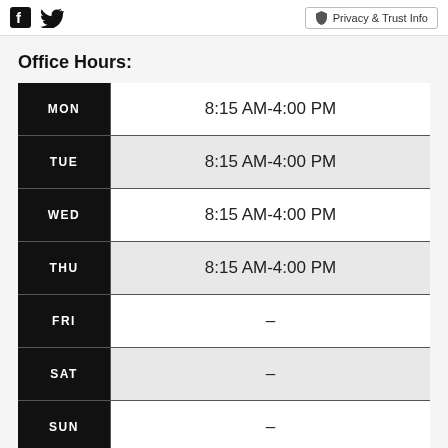Facebook Twitter | Privacy & Trust Info
Office Hours:
| Day | Hours |
| --- | --- |
| MON | 8:15 AM-4:00 PM |
| TUE | 8:15 AM-4:00 PM |
| WED | 8:15 AM-4:00 PM |
| THU | 8:15 AM-4:00 PM |
| FRI | - |
| SAT | - |
| SUN | - |
ADVERTISEMENT
[Figure (infographic): Advertisement banner: circular logo with infinity symbol, checkmark, 'In-store shopping' text, and blue navigation arrow icon]